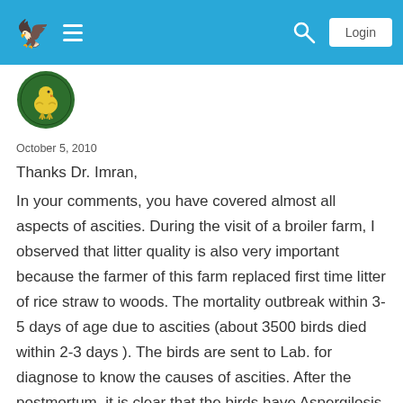Navigation bar with logo, hamburger menu, search icon, and Login button
[Figure (logo): Green circular organization logo with a yellow bird/chick icon]
October 5, 2010
Thanks Dr. Imran,
In your comments, you have covered almost all aspects of ascities. During the visit of a broiler farm, I observed that litter quality is also very important because the farmer of this farm replaced first time litter of rice straw to woods. The mortality outbreak within 3-5 days of age due to ascities (about 3500 birds died within 2-3 days ). The birds are sent to Lab. for diagnose to know the causes of ascities. After the postmortum, it is clear that the birds have Aspergilosis and Salmonella positive.
So I think that proper treatment of litter is very important